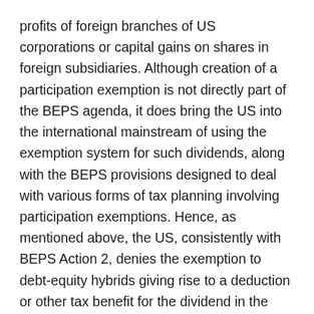profits of foreign branches of US corporations or capital gains on shares in foreign subsidiaries. Although creation of a participation exemption is not directly part of the BEPS agenda, it does bring the US into the international mainstream of using the exemption system for such dividends, along with the BEPS provisions designed to deal with various forms of tax planning involving participation exemptions. Hence, as mentioned above, the US, consistently with BEPS Action 2, denies the exemption to debt-equity hybrids giving rise to a deduction or other tax benefit for the dividend in the country of the payer.
The US exemption requires a US corporate shareholder to have a 10% vote or value participation in the foreign corporation held for at least 365 days consecutively around